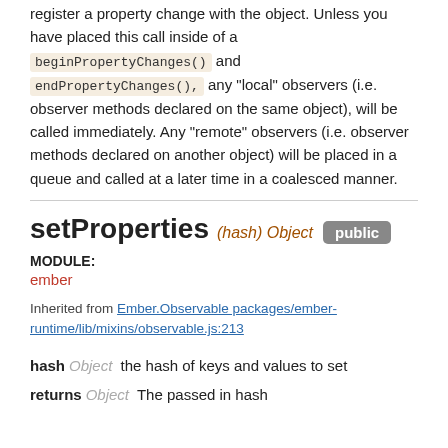register a property change with the object. Unless you have placed this call inside of a beginPropertyChanges() and endPropertyChanges(), any "local" observers (i.e. observer methods declared on the same object), will be called immediately. Any "remote" observers (i.e. observer methods declared on another object) will be placed in a queue and called at a later time in a coalesced manner.
setProperties (hash) Object public
MODULE: ember
Inherited from Ember.Observable packages/ember-runtime/lib/mixins/observable.js:213
hash Object the hash of keys and values to set
returns Object The passed in hash